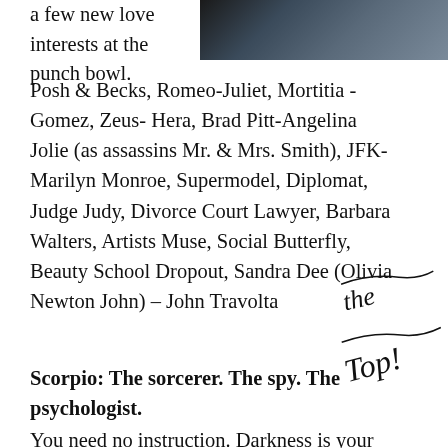[Figure (photo): Partial photograph at top right of page, dark toned image of a person]
a few new love interests at the punch bowl.
Posh & Becks, Romeo-Juliet, Mortitia -Gomez, Zeus- Hera, Brad Pitt-Angelina Jolie (as assassins Mr. & Mrs. Smith), JFK-Marilyn Monroe, Supermodel, Diplomat, Judge Judy, Divorce Court Lawyer, Barbara Walters, Artists Muse, Social Butterfly, Beauty School Dropout, Sandra Dee (Olivia Newton John) – John Travolta
Scorpio: The sorcerer. The spy. The psychologist.
You need no instruction. Darkness is your friend, a friend. You change on the...